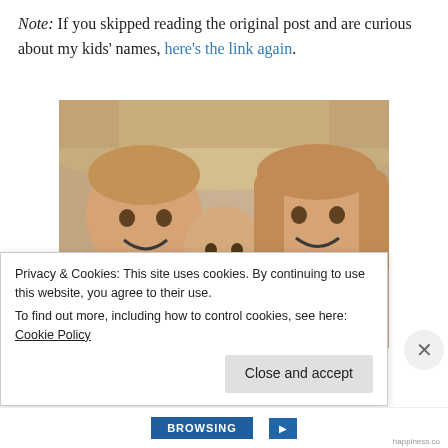Note: If you skipped reading the original post and are curious about my kids' names, here's the link again.
[Figure (photo): Photo of three young children (two older children and a baby with a pacifier) lying together on a couch, smiling at the camera.]
Privacy & Cookies: This site uses cookies. By continuing to use this website, you agree to their use. To find out more, including how to control cookies, see here: Cookie Policy
Close and accept